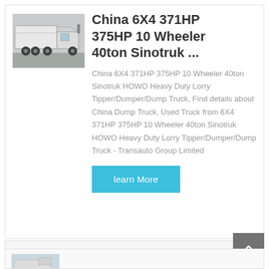[Figure (photo): Thumbnail photo of a white heavy-duty dump truck / tipper truck, rear three-quarter view]
China 6X4 371HP 375HP 10 Wheeler 40ton Sinotruk ...
China 6X4 371HP 375HP 10 Wheeler 40ton Sinotruk HOWO Heavy Duty Lorry Tipper/Dumper/Dump Truck, Find details about China Dump Truck, Used Truck from 6X4 371HP 375HP 10 Wheeler 40ton Sinotruk HOWO Heavy Duty Lorry Tipper/Dumper/Dump Truck - Transauto Group Limited
learn More
[Figure (photo): Partial thumbnail of another truck product listing (second card, partially visible)]